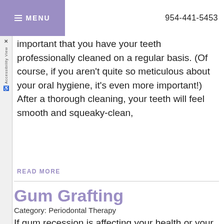MENU  954-441-5453
important that you have your teeth professionally cleaned on a regular basis. (Of course, if you aren't quite so meticulous about your oral hygiene, it's even more important!) After a thorough cleaning, your teeth will feel smooth and squeaky-clean,
READ MORE
Gum Grafting
Category: Periodontal Therapy
If gum recession is affecting your health or your appearance, a procedure called gingival (gum) grafting may be recommended. Although it might sound scary, a